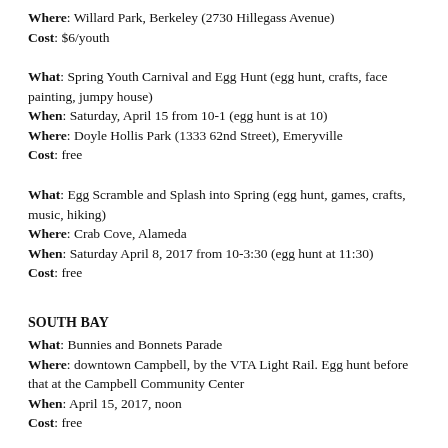Where: Willard Park, Berkeley (2730 Hillegass Avenue)
Cost: $6/youth
What: Spring Youth Carnival and Egg Hunt (egg hunt, crafts, face painting, jumpy house)
When: Saturday, April 15 from 10-1 (egg hunt is at 10)
Where: Doyle Hollis Park (1333 62nd Street), Emeryville
Cost: free
What: Egg Scramble and Splash into Spring (egg hunt, games, crafts, music, hiking)
Where: Crab Cove, Alameda
When: Saturday April 8, 2017 from 10-3:30 (egg hunt at 11:30)
Cost: free
SOUTH BAY
What: Bunnies and Bonnets Parade
Where: downtown Campbell, by the VTA Light Rail. Egg hunt before that at the Campbell Community Center
When: April 15, 2017, noon
Cost: free
What: Easter Bunny arrives by helicopter (face painting, bounce house, model train show)
Where: Hiller Aviation Museum (601 Skyway Road, San Carlos)